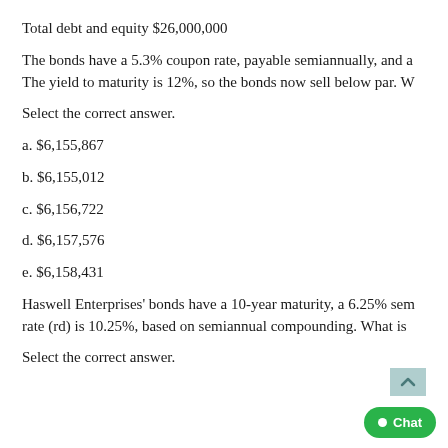Total debt and equity $26,000,000
The bonds have a 5.3% coupon rate, payable semiannually, and a The yield to maturity is 12%, so the bonds now sell below par. W
Select the correct answer.
a. $6,155,867
b. $6,155,012
c. $6,156,722
d. $6,157,576
e. $6,158,431
Haswell Enterprises' bonds have a 10-year maturity, a 6.25% sem rate (rd) is 10.25%, based on semiannual compounding. What is
Select the correct answer.